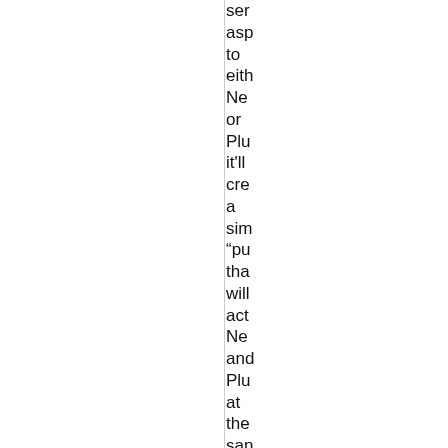ser asp to eith Ne or Plu it'll cre a sim “pu tha will act Ne and Plu at the san tim unl the late